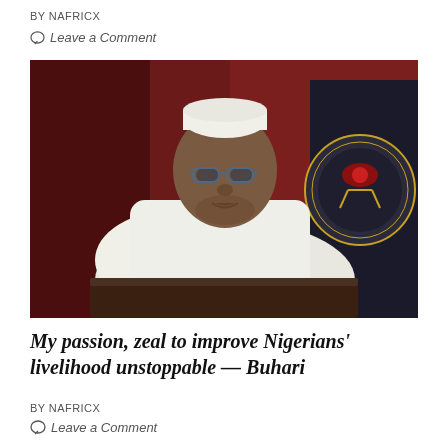BY NAFRICX
Leave a Comment
[Figure (photo): A man in white traditional attire and white cap seated at a desk, with a Nigerian presidential seal visible on a dark leather chair in the background. The background shows dark red curtains.]
My passion, zeal to improve Nigerians' livelihood unstoppable — Buhari
BY NAFRICX
Leave a Comment